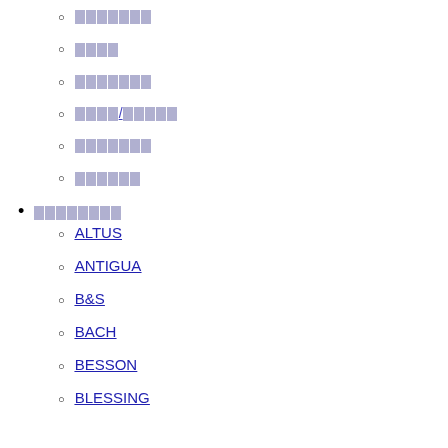[CJK link 1] (sub-item, circle bullet)
[CJK link 2] (sub-item, circle bullet)
[CJK link 3] (sub-item, circle bullet)
[CJK link 4/5] (sub-item, circle bullet)
[CJK link 5] (sub-item, circle bullet)
[CJK link 6] (sub-item, circle bullet)
[CJK parent item] (bullet)
ALTUS
ANTIGUA
B&S
BACH
BESSON
BLESSING